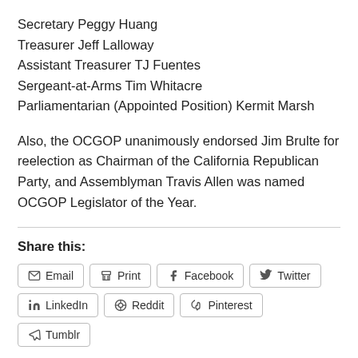Secretary Peggy Huang
Treasurer Jeff Lalloway
Assistant Treasurer TJ Fuentes
Sergeant-at-Arms Tim Whitacre
Parliamentarian (Appointed Position) Kermit Marsh
Also, the OCGOP unanimously endorsed Jim Brulte for reelection as Chairman of the California Republican Party, and Assemblyman Travis Allen was named OCGOP Legislator of the Year.
Share this:
Email | Print | Facebook | Twitter | LinkedIn | Reddit | Pinterest | Tumblr